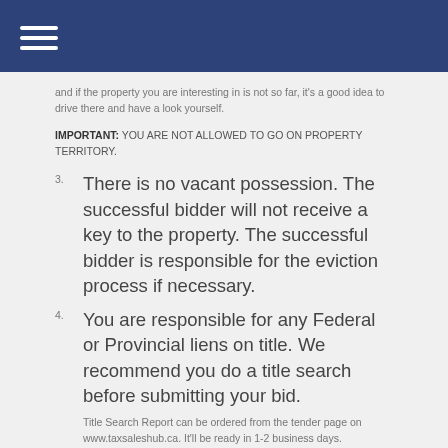and if the property you are interesting in is not so far, it's a good idea to drive there and have a look yourself.
IMPORTANT: YOU ARE NOT ALLOWED TO GO ON PROPERTY TERRITORY.
There is no vacant possession. The successful bidder will not receive a key to the property. The successful bidder is responsible for the eviction process if necessary.
You are responsible for any Federal or Provincial liens on title. We recommend you do a title search before submitting your bid.
Title Search Report can be ordered from the tender page on www.taxsaleshub.ca. It'll be ready in 1-2 business days.
You should investigate zoning, planning or